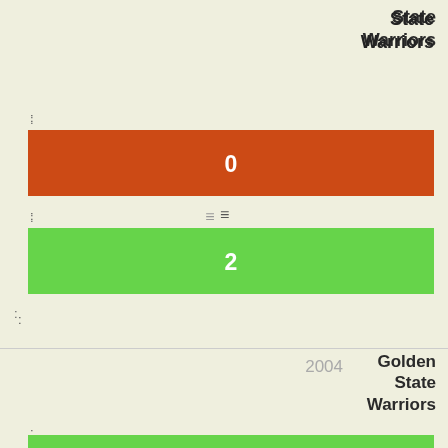State Warriors
[Figure (bar-chart): Golden State Warriors wins]
Cleveland Cavaliers
2004 Golden State Warriors
[Figure (bar-chart): 2004 Golden State Warriors]